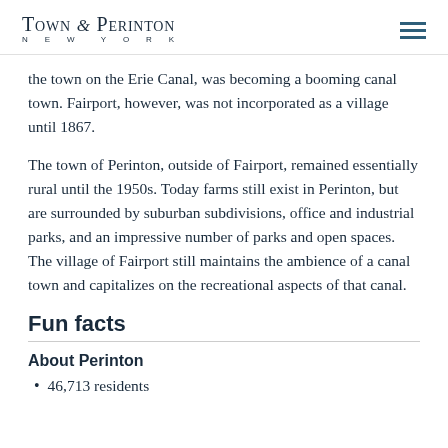Town of Perinton New York
the town on the Erie Canal, was becoming a booming canal town. Fairport, however, was not incorporated as a village until 1867.
The town of Perinton, outside of Fairport, remained essentially rural until the 1950s. Today farms still exist in Perinton, but are surrounded by suburban subdivisions, office and industrial parks, and an impressive number of parks and open spaces. The village of Fairport still maintains the ambience of a canal town and capitalizes on the recreational aspects of that canal.
Fun facts
About Perinton
46,713 residents